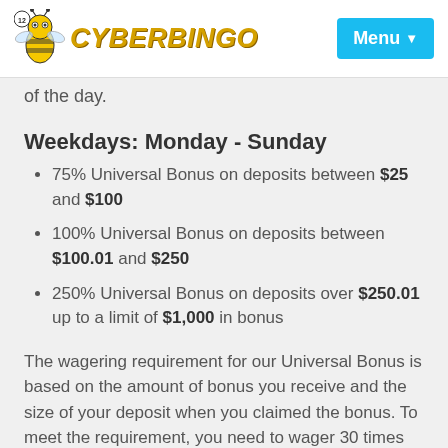CYBERBINGO | Menu
of the day.
Weekdays: Monday - Sunday
75% Universal Bonus on deposits between $25 and $100
100% Universal Bonus on deposits between $100.01 and $250
250% Universal Bonus on deposits over $250.01 up to a limit of $1,000 in bonus
The wagering requirement for our Universal Bonus is based on the amount of bonus you receive and the size of your deposit when you claimed the bonus. To meet the requirement, you need to wager 30 times (30x) the